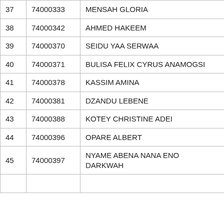| 37 | 74000333 | MENSAH GLORIA |
| 38 | 74000342 | AHMED HAKEEM |
| 39 | 74000370 | SEIDU YAA SERWAA |
| 40 | 74000371 | BULISA FELIX CYRUS ANAMOGSI |
| 41 | 74000378 | KASSIM AMINA |
| 42 | 74000381 | DZANDU LEBENE |
| 43 | 74000388 | KOTEY CHRISTINE ADEI |
| 44 | 74000396 | OPARE ALBERT |
| 45 | 74000397 | NYAME ABENA NANA ENO DARKWAH |